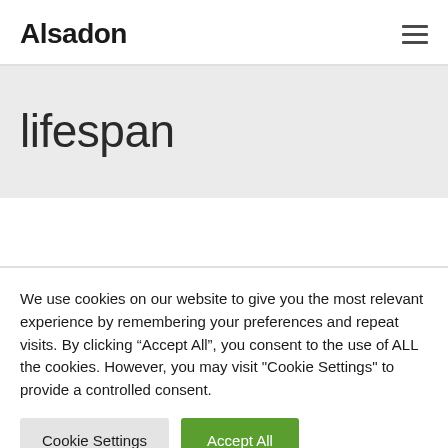Alsadon
lifespan
We use cookies on our website to give you the most relevant experience by remembering your preferences and repeat visits. By clicking “Accept All”, you consent to the use of ALL the cookies. However, you may visit "Cookie Settings" to provide a controlled consent.
Cookie Settings | Accept All